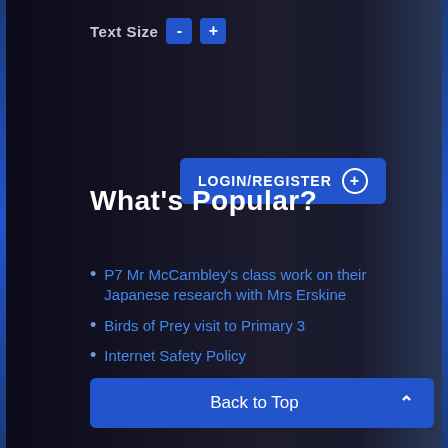Text Size - +
LOGIN/REGISTER +
What's Popular?
P7 Mr McCambley's class work on their Japanese research with Mrs Erskine
Birds of Prey visit to Primary 3
Internet Safety Policy
P1 Pupil Zone
Privacy Policy
Back to Top